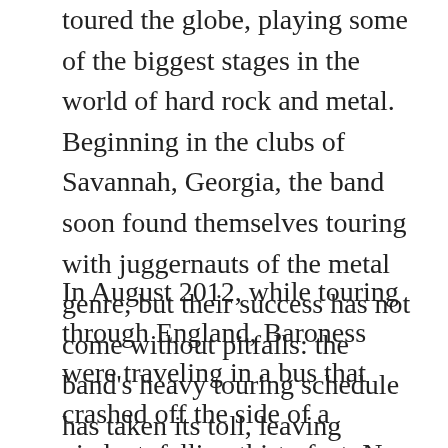toured the globe, playing some of the biggest stages in the world of hard rock and metal. Beginning in the clubs of Savannah, Georgia, the band soon found themselves touring with juggernauts of the metal genre, but their success has not come without pitfalls: the band's heavy touring schedule has taken its toll, leaving Baizley as the only remaining original member.
In August 2012, while touring through England, Baroness were traveling in a bus that crashed off the side of a viaduct, falling thirty feet. No one was killed, but Baizely suffered severe injuries. His leg and arm were broken and he needed numerous surgeries. Baizley was stranded in a foreign hospital in a foreign